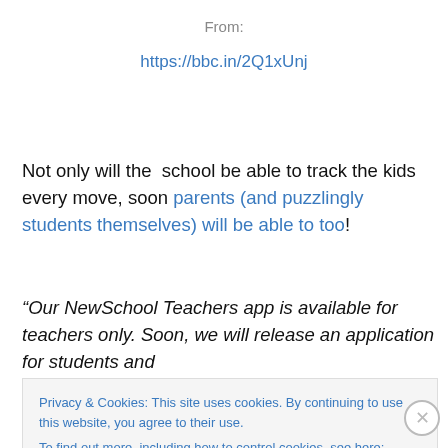From:
https://bbc.in/2Q1xUnj
Not only will the  school be able to track the kids every move, soon parents (and puzzlingly students themselves) will be able to too!
“Our NewSchool Teachers app is available for teachers only. Soon, we will release an application for students and
Privacy & Cookies: This site uses cookies. By continuing to use this website, you agree to their use.
To find out more, including how to control cookies, see here: Cookie Policy
Close and accept